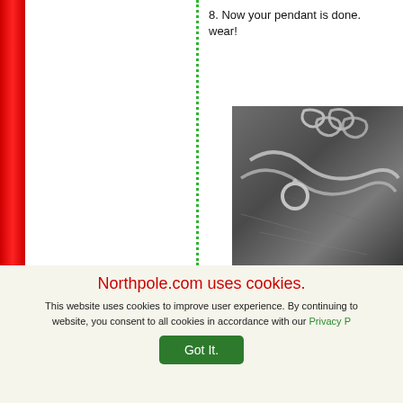8. Now your pendant is done. wear!
[Figure (photo): Close-up photo of a silver/metallic pendant chain lying on a dark stone surface, black and white tones.]
Northpole.com uses cookies.
This website uses cookies to improve user experience. By continuing to website, you consent to all cookies in accordance with our Privacy P
Got It.